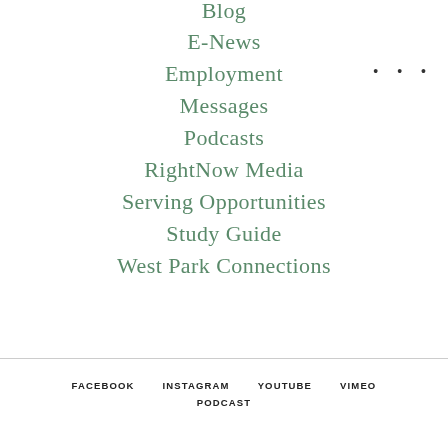Blog
E-News
Employment
Messages
Podcasts
RightNow Media
Serving Opportunities
Study Guide
West Park Connections
FACEBOOK   INSTAGRAM   YOUTUBE   VIMEO   PODCAST